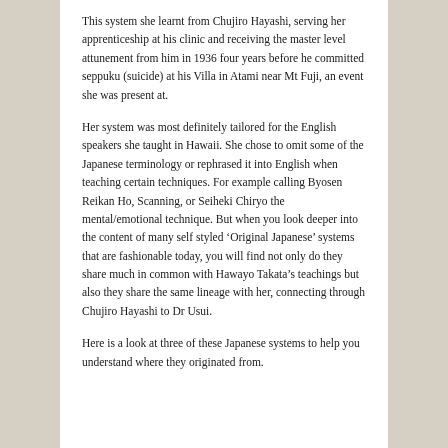This system she learnt from Chujiro Hayashi, serving her apprenticeship at his clinic and receiving the master level attunement from him in 1936 four years before he committed seppuku (suicide) at his Villa in Atami near Mt Fuji, an event she was present at.
Her system was most definitely tailored for the English speakers she taught in Hawaii. She chose to omit some of the Japanese terminology or rephrased it into English when teaching certain techniques. For example calling Byosen Reikan Ho, Scanning, or Seiheki Chiryo the mental/emotional technique. But when you look deeper into the content of many self styled ‘Original Japanese’ systems that are fashionable today, you will find not only do they share much in common with Hawayo Takata’s teachings but also they share the same lineage with her, connecting through Chujiro Hayashi to Dr Usui.
Here is a look at three of these Japanese systems to help you understand where they originated from.